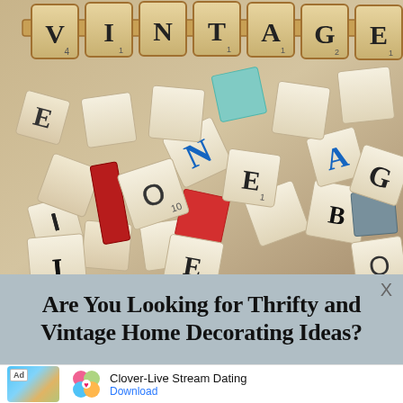[Figure (photo): Overhead photo of scattered Scrabble letter tiles in cream/white, with a row of tiles at the top spelling VINTAGE on a wooden rack. Some tiles are red and blue. The background is a pile of mixed letter tiles.]
Are You Looking for Thrifty and Vintage Home Decorating Ideas?
[Figure (infographic): Advertisement banner at bottom showing Clover-Live Stream Dating app ad with thumbnail image of woman at beach, colorful clover heart logo icon, app name, and Download button.]